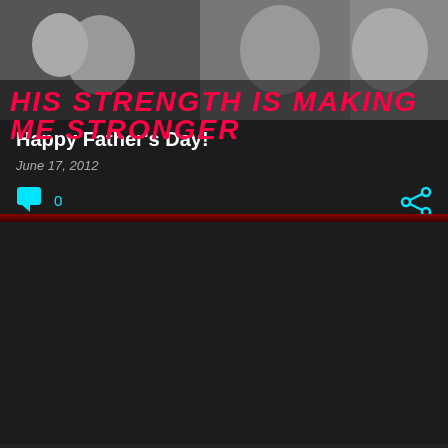[Figure (photo): Black and white photo strip showing multiple people including a baby, a young man, and smiling people]
HIS STRENGTH IS MAKING ME STRONGER
Happy Father's Day!
June 17, 2012
0
[Figure (photo): Dark image placeholder for second blog post]
Tribes and Birthday Presents